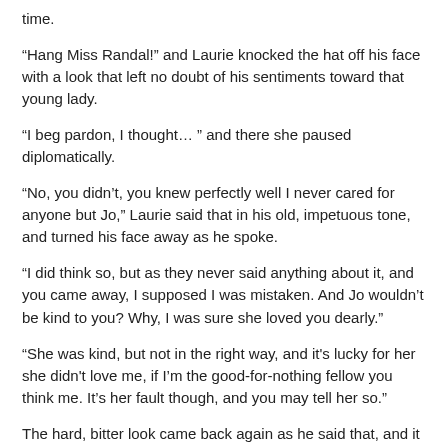time.
“Hang Miss Randal!” and Laurie knocked the hat off his face with a look that left no doubt of his sentiments toward that young lady.
“I beg pardon, I thought… ” and there she paused diplomatically.
“No, you didn’t, you knew perfectly well I never cared for anyone but Jo,” Laurie said that in his old, impetuous tone, and turned his face away as he spoke.
“I did think so, but as they never said anything about it, and you came away, I supposed I was mistaken. And Jo wouldn’t be kind to you? Why, I was sure she loved you dearly.”
“She was kind, but not in the right way, and it's lucky for her she didn't love me, if I’m the good-for-nothing fellow you think me. It’s her fault though, and you may tell her so.”
The hard, bitter look came back again as he said that, and it troubled Amy, for she did not know what balm to apply.